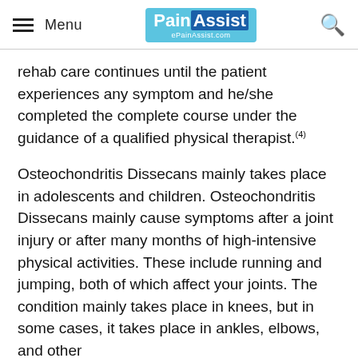Menu | PainAssist ePainAssist.com
rehab care continues until the patient experiences any symptom and he/she completed the complete course under the guidance of a qualified physical therapist.(4)
Osteochondritis Dissecans mainly takes place in adolescents and children. Osteochondritis Dissecans mainly cause symptoms after a joint injury or after many months of high-intensive physical activities. These include running and jumping, both of which affect your joints. The condition mainly takes place in knees, but in some cases, it takes place in ankles, elbows, and other